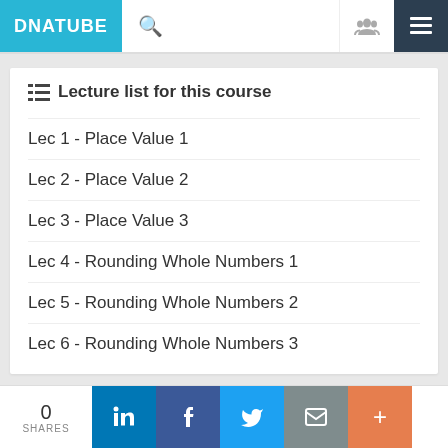DNATUBE
Lecture list for this course
Lec 1 - Place Value 1
Lec 2 - Place Value 2
Lec 3 - Place Value 3
Lec 4 - Rounding Whole Numbers 1
Lec 5 - Rounding Whole Numbers 2
Lec 6 - Rounding Whole Numbers 3
0 SHARES